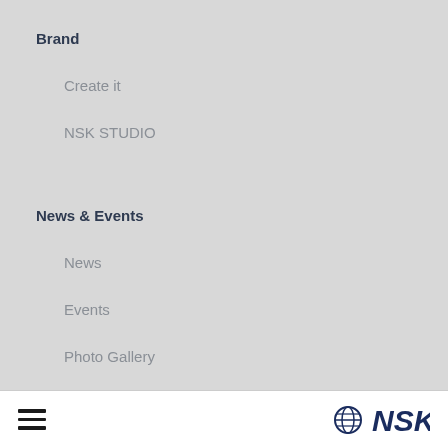Brand
Create it
NSK STUDIO
News & Events
News
Events
Photo Gallery
Support & Downloads
Reprocessing Guide
☰  🌐 NSK